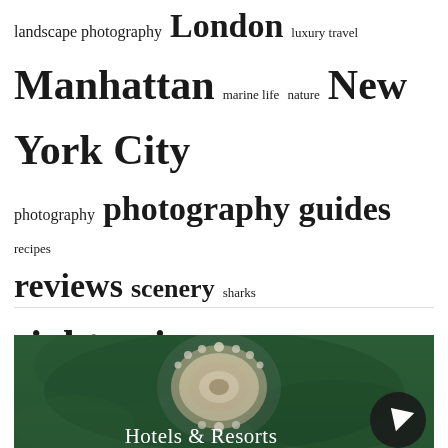landscape photography London luxury travel Manhattan marine life nature New York City photography photography guides recipes reviews scenery sharks sightseeing sports tech Thailand thrill-seekers tips travel guides travel photography tutorials underwater photography USA wildlife and nature wildlife photography
[Figure (photo): Photo of an ornate silver brooch or decorative piece on a green background, with Hotels & Resorts text overlay at the bottom, and a dark circular navigation arrow button in the bottom right]
Hotels & Resorts